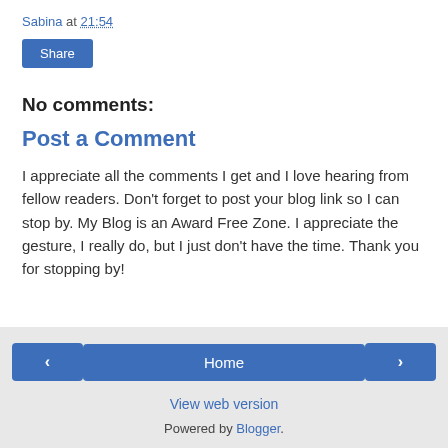Sabina at 21:54
Share
No comments:
Post a Comment
I appreciate all the comments I get and I love hearing from fellow readers. Don't forget to post your blog link so I can stop by. My Blog is an Award Free Zone. I appreciate the gesture, I really do, but I just don't have the time. Thank you for stopping by!
‹  Home  ›  View web version  Powered by Blogger.